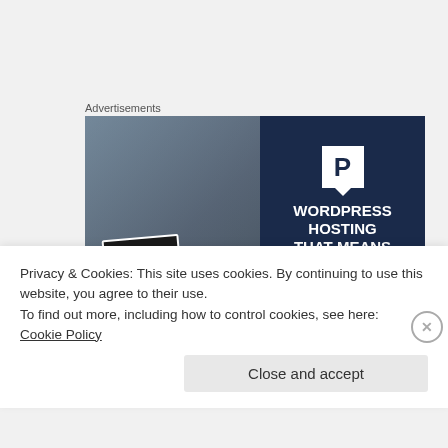Advertisements
[Figure (illustration): Advertisement banner for WordPress hosting. Left half shows a photo of a woman holding an OPEN sign in a shop window. Right half is dark navy blue with a white P logo at top and text: WORDPRESS HOSTING THAT MEANS BUSINESS.]
Privacy & Cookies: This site uses cookies. By continuing to use this website, you agree to their use.
To find out more, including how to control cookies, see here:
Cookie Policy
Close and accept